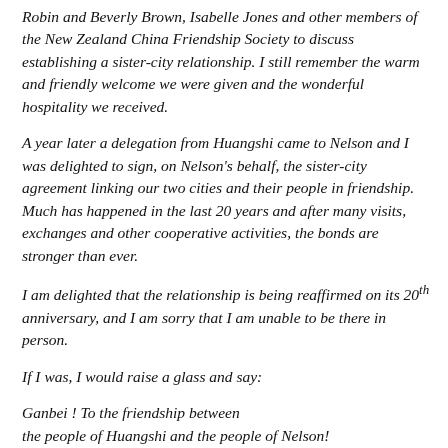Robin and Beverly Brown, Isabelle Jones and other members of the New Zealand China Friendship Society to discuss establishing a sister-city relationship. I still remember the warm and friendly welcome we were given and the wonderful hospitality we received.
A year later a delegation from Huangshi came to Nelson and I was delighted to sign, on Nelson's behalf, the sister-city agreement linking our two cities and their people in friendship. Much has happened in the last 20 years and after many visits, exchanges and other cooperative activities, the bonds are stronger than ever.
I am delighted that the relationship is being reaffirmed on its 20th anniversary, and I am sorry that I am unable to be there in person.
If I was, I would raise a glass and say:
Ganbei ! To the friendship between the people of Huangshi and the people of Nelson!